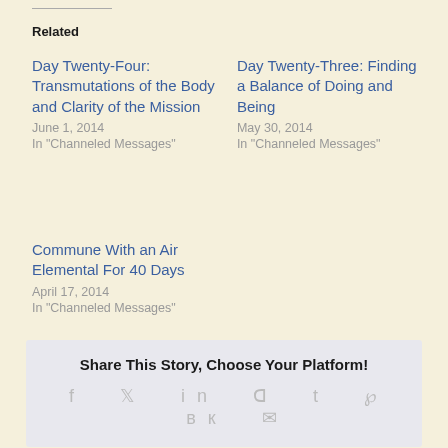Related
Day Twenty-Four: Transmutations of the Body and Clarity of the Mission
June 1, 2014
In "Channeled Messages"
Day Twenty-Three: Finding a Balance of Doing and Being
May 30, 2014
In "Channeled Messages"
Commune With an Air Elemental For 40 Days
April 17, 2014
In "Channeled Messages"
Share This Story, Choose Your Platform!
f  🐦  in  🔴  t  𝓟  вк  ✉